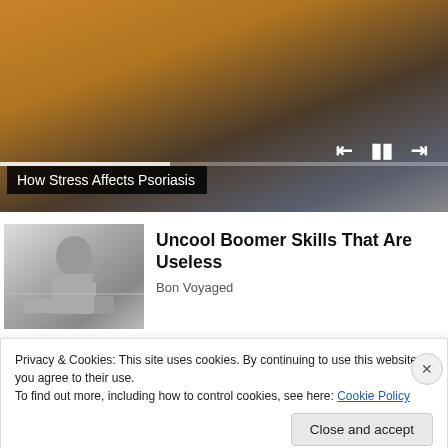[Figure (screenshot): Video player showing a person in a yellow sweater sitting on a couch, with playback controls (skip back, pause, skip forward) and a progress bar visible at the bottom of the video frame.]
How Stress Affects Psoriasis
[Figure (photo): Black and white vintage photo of a woman in a floral dress appearing distressed, in a kitchen setting.]
Uncool Boomer Skills That Are Useless
Bon Voyaged
Privacy & Cookies: This site uses cookies. By continuing to use this website, you agree to their use.
To find out more, including how to control cookies, see here: Cookie Policy
Close and accept